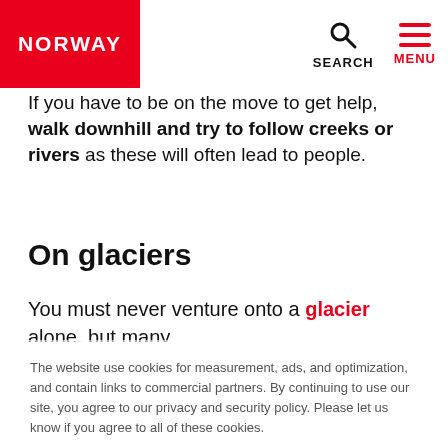NORWAY | SEARCH | MENU
If you have to be on the move to get help, walk downhill and try to follow creeks or rivers as these will often lead to people.
On glaciers
You must never venture onto a glacier alone, but many
The website use cookies for measurement, ads, and optimization, and contain links to commercial partners. By continuing to use our site, you agree to our privacy and security policy. Please let us know if you agree to all of these cookies.
Privacy and security policy
Required only
Yes, that´s OK!
Edit settings